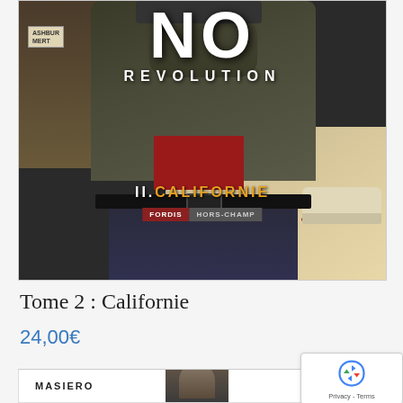[Figure (illustration): Book cover of 'No Revolution II. Californie' showing a figure in dark clothing with belt, street scene background with car. Title 'NO' in large white letters, 'REVOLUTION' below, subtitle 'II. CALIFORNIE' in orange, publisher labels 'FORDIS' and 'HORS-CHAMP' at bottom.]
Tome 2 : Californie
24,00€
MASIERO
AVALLONE